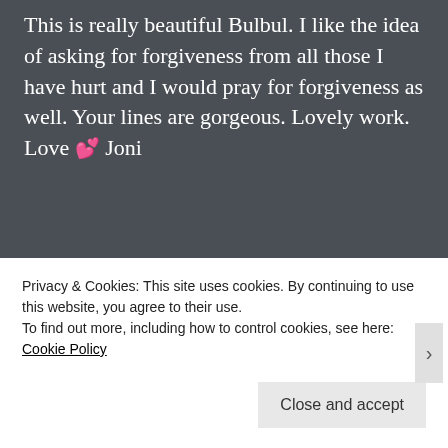This is really beautiful Bulbul. I like the idea of asking for forgiveness from all those I have hurt and I would pray for forgiveness as well. Your lines are gorgeous. Lovely work. Love 💕 Joni
★ Liked by 1person
A.S. April 27, 2020 Reply
Privacy & Cookies: This site uses cookies. By continuing to use this website, you agree to their use. To find out more, including how to control cookies, see here: Cookie Policy
Close and accept